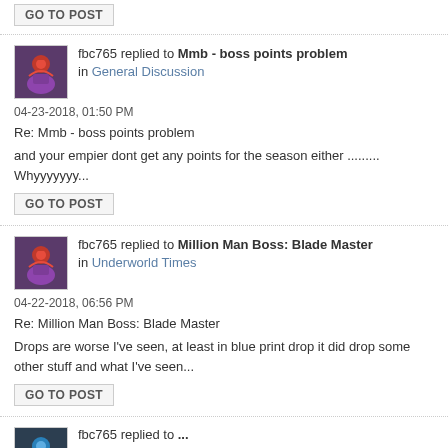GO TO POST
fbc765 replied to Mmb - boss points problem in General Discussion
04-23-2018, 01:50 PM
Re: Mmb - boss points problem
and your empier dont get any points for the season either ......... Whyyyyyyy...
GO TO POST
fbc765 replied to Million Man Boss: Blade Master in Underworld Times
04-22-2018, 06:56 PM
Re: Million Man Boss: Blade Master
Drops are worse I've seen, at least in blue print drop it did drop some other stuff and what I've seen...
GO TO POST
fbc765 replied to ...